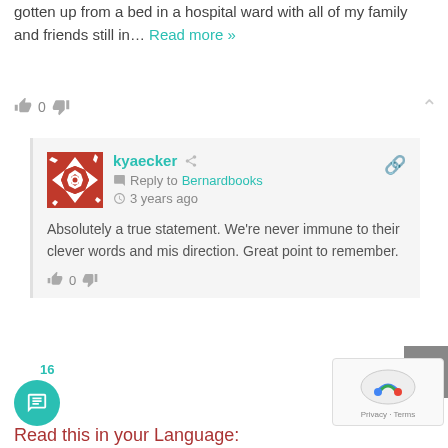gotten up from a bed in a hospital ward with all of my family and friends still in... Read more »
kyaecker  Reply to Bernardbooks  3 years ago  Absolutely a true statement. We're never immune to their clever words and mis direction. Great point to remember.
Read this in your Language: